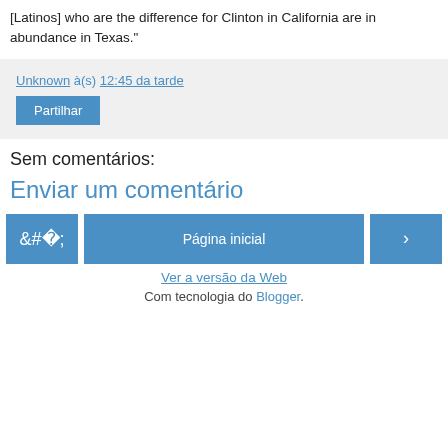[Latinos] who are the difference for Clinton in California are in abundance in Texas."
Unknown à(s) 12:45 da tarde
Partilhar
Sem comentários:
Enviar um comentário
‹  Página inicial  ›
Ver a versão da Web
Com tecnologia do Blogger.